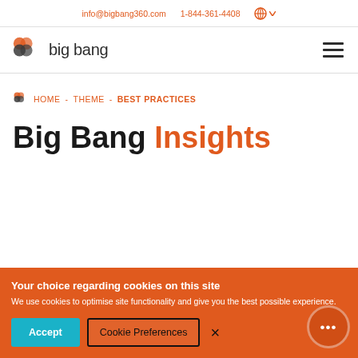info@bigbang360.com   1-844-361-4408
[Figure (logo): Big Bang logo with icon and wordmark 'big bang']
HOME - THEME - BEST PRACTICES
Big Bang Insights
Your choice regarding cookies on this site
We use cookies to optimise site functionality and give you the best possible experience.
Accept   Cookie Preferences   ×